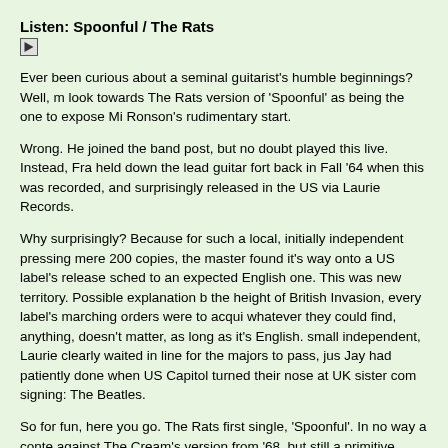Listen: Spoonful / The Rats
[Figure (other): Play button icon for audio player]
Ever been curious about a seminal guitarist's humble beginnings? Well, many look towards The Rats version of 'Spoonful' as being the one to expose Mick Ronson's rudimentary start.
Wrong. He joined the band post, but no doubt played this live. Instead, Fra held down the lead guitar fort back in Fall '64 when this was recorded, and surprisingly released in the US via Laurie Records.
Why surprisingly? Because for such a local, initially independent pressing of mere 200 copies, the master found it's way onto a US label's release schedule to an expected English one. This was new territory. Possible explanation b the height of British Invasion, every label's marching orders were to acqui whatever they could find, anything, doesn't matter, as long as it's English. small independent, Laurie clearly waited in line for the majors to pass, just Jay had patiently done when US Capitol turned their nose at UK sister com signing: The Beatles.
So for fun, here you go. The Rats first single, 'Spoonful'. In no way a conte against The Cream's version from '68, but still a primitive attempt to comp Hull hometown superstars, The Hullaballoss. For that, anyone gets an out free card.